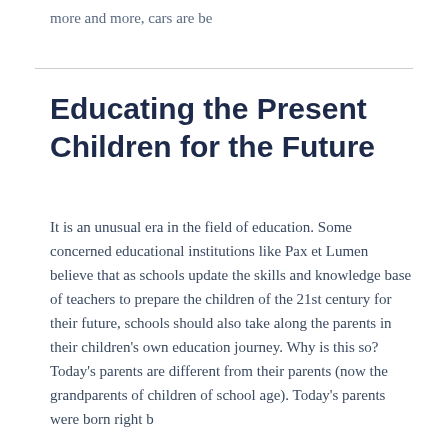more and more, cars are be
Educating the Present Children for the Future
It is an unusual era in the field of education. Some concerned educational institutions like Pax et Lumen believe that as schools update the skills and knowledge base of teachers to prepare the children of the 21st century for their future, schools should also take along the parents in their children's own education journey. Why is this so? Today's parents are different from their parents (now the grandparents of children of school age). Today's parents were born right b